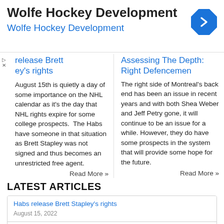[Figure (other): Advertisement banner for Wolfe Hockey Development with blue diamond navigation icon]
release Brett ...ey's rights
Assessing The Depth: Right Defencemen
August 15th is quietly a day of some importance on the NHL calendar as it's the day that NHL rights expire for some college prospects.  The Habs have someone in that situation as Brett Stapley was not signed and thus becomes an unrestricted free agent.
Read More »
The right side of Montreal's back end has been an issue in recent years and with both Shea Weber and Jeff Petry gone, it will continue to be an issue for a while. However, they do have some prospects in the system that will provide some hope for the future.
Read More »
LATEST ARTICLES
Habs release Brett Stapley's rights
August 15, 2022
Assessing The Depth: Right Defencemen